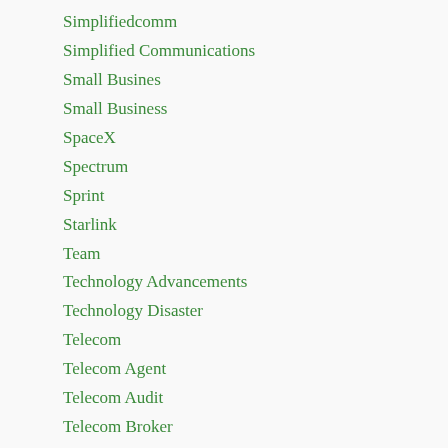Simplifiedcomm
Simplified Communications
Small Busines
Small Business
SpaceX
Spectrum
Sprint
Starlink
Team
Technology Advancements
Technology Disaster
Telecom
Telecom Agent
Telecom Audit
Telecom Broker
Telecom Contracts
Telecommunications